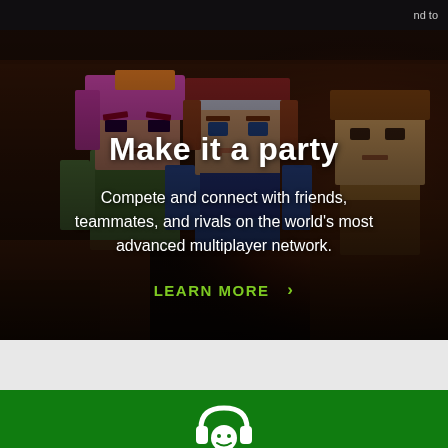[Figure (screenshot): Minecraft story-mode characters (blocky figures with pink/magenta hair, red hat, and tan figure) in a dark interior scene, used as hero background image for Xbox Live multiplayer promotion]
Make it a party
Compete and connect with friends, teammates, and rivals on the world's most advanced multiplayer network.
LEARN MORE ›
[Figure (illustration): White headset/avatar icon on green background, partially visible at bottom of page]